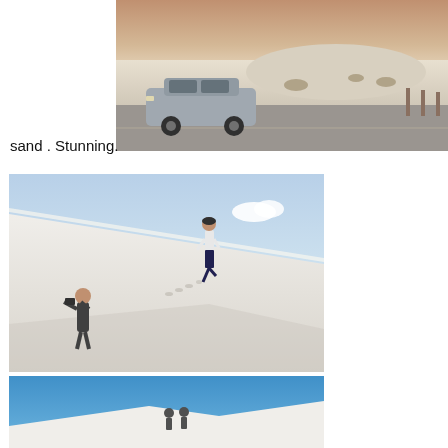[Figure (photo): A silver BMW station wagon parked on a white sand desert road at dusk, with white sand dunes and sparse desert vegetation in the background, sky has a warm pinkish hue.]
sand . Stunning.
[Figure (photo): Two people on a large white sand dune. One person stands at the bottom-left photographing, while another person runs up the steep dune slope in the distance. Bright daylight, blue sky with a small cloud.]
[Figure (photo): People on a white sand dune against a bright blue sky, partially visible, cropped at bottom of page.]